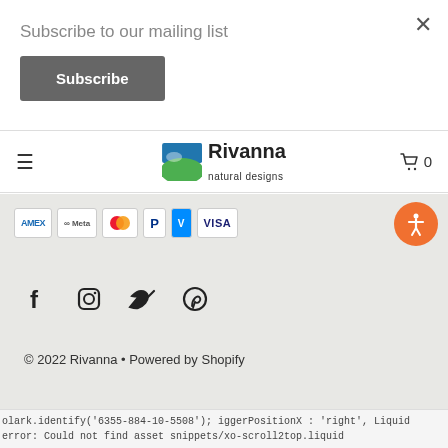Subscribe to our mailing list
Subscribe
[Figure (logo): Rivanna Natural Designs logo with blue and green landscape icon]
[Figure (infographic): Payment method icons: AMEX, Meta, Mastercard, PayPal, Venmo, VISA]
[Figure (infographic): Social media icons: Facebook, Instagram, Twitter, Pinterest]
© 2022 Rivanna • Powered by Shopify
olark.identify('6355-884-10-5508'); iggerPositionX : 'right', Liquid error: Could not find asset snippets/xo-scroll2top.liquid